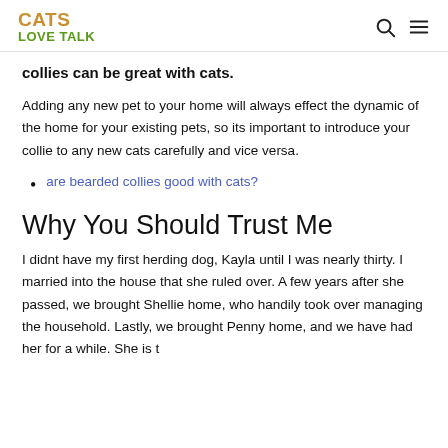CATS LOVE TALK
collies can be great with cats.
Adding any new pet to your home will always effect the dynamic of the home for your existing pets, so its important to introduce your collie to any new cats carefully and vice versa.
are bearded collies good with cats?
Why You Should Trust Me
I didnt have my first herding dog, Kayla until I was nearly thirty. I married into the house that she ruled over. A few years after she passed, we brought Shellie home, who handily took over managing the household. Lastly, we brought Penny home, and we have had her for a while. She is t...